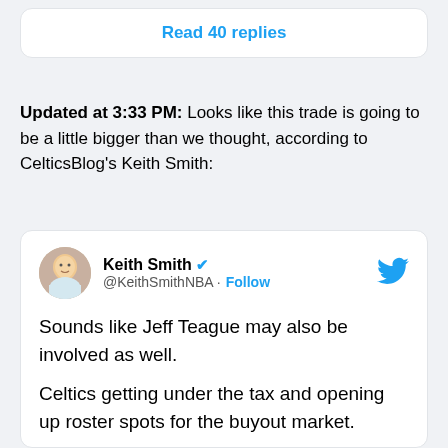Read 40 replies
Updated at 3:33 PM: Looks like this trade is going to be a little bigger than we thought, according to CelticsBlog's Keith Smith:
[Figure (screenshot): Embedded tweet from @KeithSmithNBA (Keith Smith, verified) with Twitter bird logo. Tweet text: 'Sounds like Jeff Teague may also be involved as well. Celtics getting under the tax and opening up roster spots for the buyout market.' Nested below: Keith Smith @KeithSmithNBA]